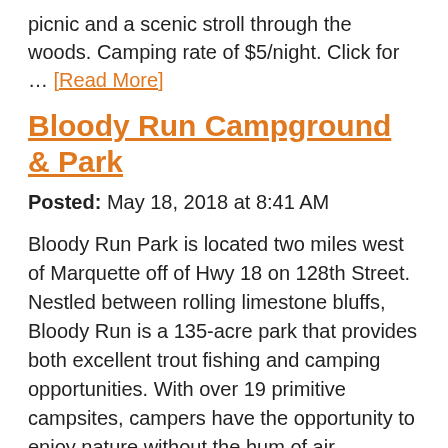picnic and a scenic stroll through the woods. Camping rate of $5/night. Click for … [Read More]
Bloody Run Campground & Park
Posted: May 18, 2018 at 8:41 AM
Bloody Run Park is located two miles west of Marquette off of Hwy 18 on 128th Street. Nestled between rolling limestone bluffs, Bloody Run is a 135-acre park that provides both excellent trout fishing and camping opportunities. With over 19 primitive campsites, campers have the opportunity to enjoy nature without the hum of air conditioners. … [Read More]
1 2 »